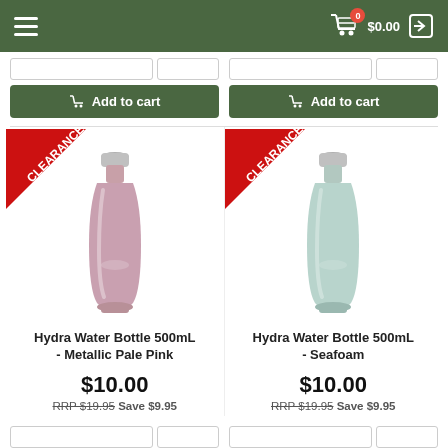Navigation header with hamburger menu, cart ($0.00, 0 items), and login icon
[Figure (screenshot): Two partial 'Add to cart' buttons at the top of the page, partially cut off]
[Figure (photo): Hydra Water Bottle 500mL - Metallic Pale Pink with CLEARANCE ribbon badge]
Hydra Water Bottle 500mL - Metallic Pale Pink
$10.00
RRP $19.95 Save $9.95
[Figure (photo): Hydra Water Bottle 500mL - Seafoam with CLEARANCE ribbon badge]
Hydra Water Bottle 500mL - Seafoam
$10.00
RRP $19.95 Save $9.95